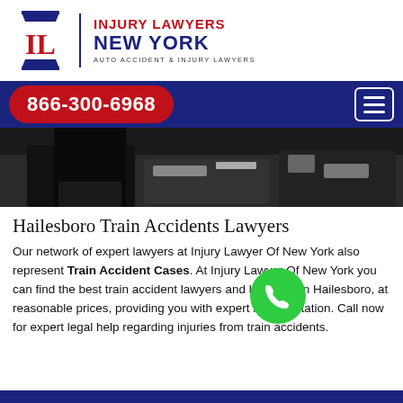[Figure (logo): Injury Lawyers New York logo with IL monogram icon and text: INJURY LAWYERS NEW YORK, AUTO ACCIDENT & INJURY LAWYERS]
866-300-6968
[Figure (photo): Dark photo showing a damaged vehicle undercarriage or engine area being inspected]
Hailesboro Train Accidents Lawyers
Our network of expert lawyers at Injury Lawyer Of New York also represent Train Accident Cases. At Injury Lawyer Of New York you can find the best train accident lawyers and law firms in Hailesboro, at reasonable prices, providing you with expert representation. Call now for expert legal help regarding injuries from train accidents.